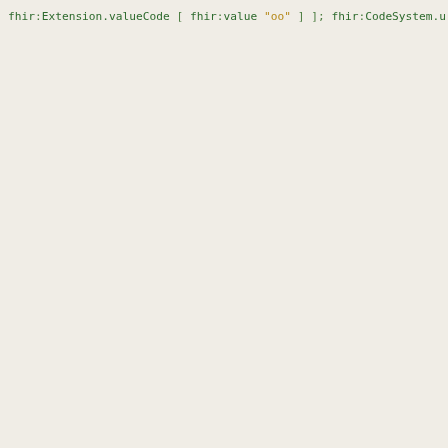FHIR Turtle/RDF code snippet showing CodeSystem resource properties including Extension.valueCode, CodeSystem.url, CodeSystem.identifier, CodeSystem.version, CodeSystem.name, CodeSystem.title, CodeSystem.status, CodeSystem.experimental, CodeSystem.date, CodeSystem.publisher, CodeSystem.contact with nested ContactDetail.telecom and ContactPoint properties